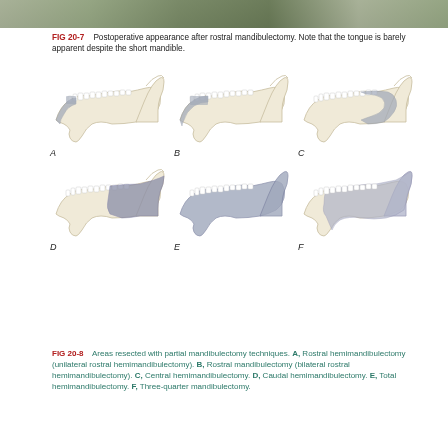[Figure (photo): Top portion of a photo showing postoperative appearance after rostral mandibulectomy in an animal]
FIG 20-7   Postoperative appearance after rostral mandibulectomy. Note that the tongue is barely apparent despite the short mandible.
[Figure (illustration): Six diagrams (A-F) of canine mandible showing areas resected with various partial mandibulectomy techniques. A: Rostral hemimandibulectomy, B: Rostral mandibulectomy, C: Central hemimandibulectomy, D: Caudal hemimandibulectomy, E: Total hemimandibulectomy, F: Three-quarter mandibulectomy. Resected areas shown in gray shading.]
FIG 20-8   Areas resected with partial mandibulectomy techniques. A, Rostral hemimandibulectomy (unilateral rostral hemimandibulectomy). B, Rostral mandibulectomy (bilateral rostral hemimandibulectomy). C, Central hemimandibulectomy. D, Caudal hemimandibulectomy. E, Total hemimandibulectomy. F, Three-quarter mandibulectomy.